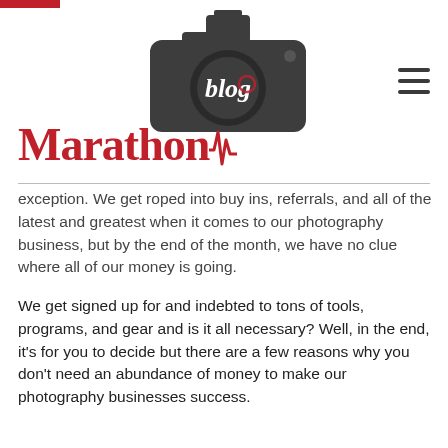[Figure (logo): Marathon Blog logo: red serif 'Marathon' text with heartbeat pulse line, and dark gray DSLR camera silhouette with 'blog' in white cursive script on the lens area]
exception. We get roped into buy ins, referrals, and all of the latest and greatest when it comes to our photography business, but by the end of the month, we have no clue where all of our money is going.
We get signed up for and indebted to tons of tools, programs, and gear and is it all necessary? Well, in the end, it's for you to decide but there are a few reasons why you don't need an abundance of money to make our photography businesses success.